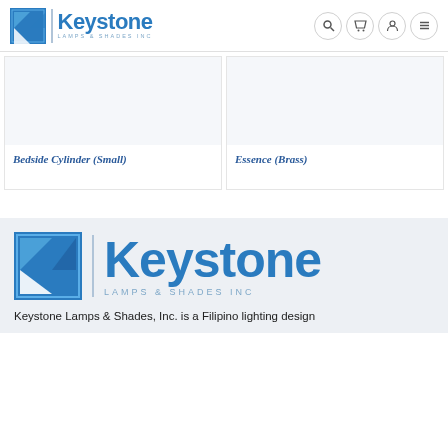Keystone LAMPS & SHADES INC
Bedside Cylinder (Small)
Essence (Brass)
[Figure (logo): Keystone Lamps & Shades Inc logo with blue square icon and text]
Keystone Lamps & Shades, Inc. is a Filipino lighting design